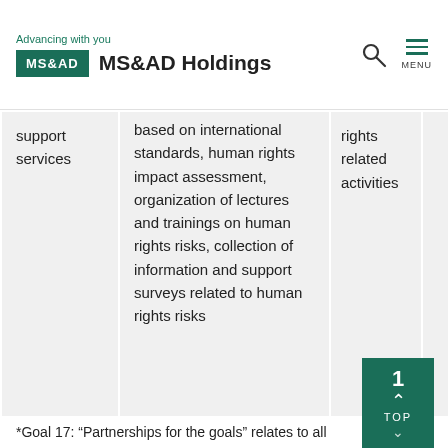Advancing with you | MS&AD Holdings
|  |  |  |  |
| --- | --- | --- | --- |
| support services | based on international standards, human rights impact assessment, organization of lectures and trainings on human rights risks, collection of information and support surveys related to human rights risks | rights related activities |  |
*Goal 17: “Partnerships for the goals” relates to all initiatives.